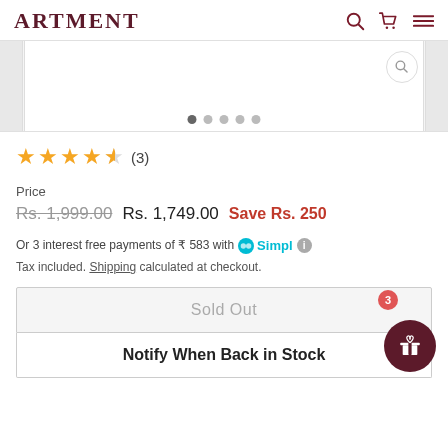ARTMENT
[Figure (screenshot): Product image carousel with search icon overlay and pagination dots]
★★★★½ (3)
Price
Rs. 1,999.00  Rs. 1,749.00  Save Rs. 250
Or 3 interest free payments of ₹ 583 with Simpl ℹ
Tax included. Shipping calculated at checkout.
Sold Out
Notify When Back in Stock